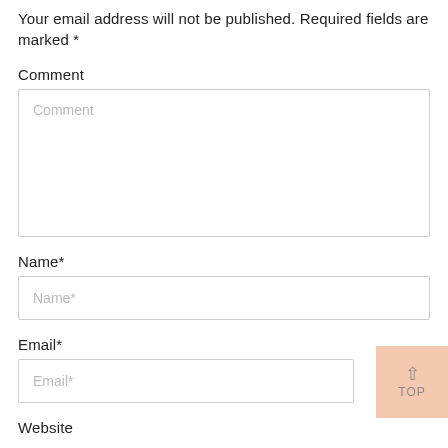Your email address will not be published. Required fields are marked *
Comment
[Figure (other): Comment text area input box with placeholder text 'Comment']
Name*
[Figure (other): Name text input box with placeholder text 'Name*']
Email*
[Figure (other): Email text input box with placeholder text 'Email*']
Website